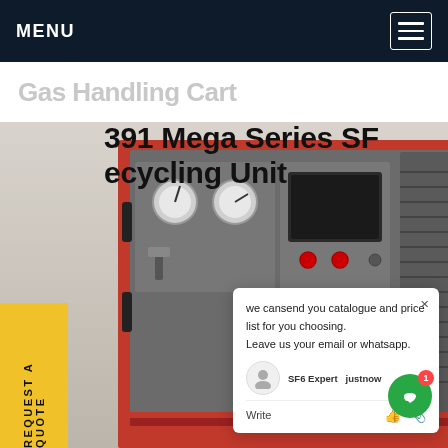MENU
Gas Handling Cart
391 Mega Series SF6 Recycling Unit
[Figure (photo): Industrial SF6 gas recycling unit with red metal frame structure, grey control panel with gauges, switches, display screen, and red buttons. Unit is mounted on a red wheeled cart frame with ventilation louvers on the side.]
REQUEST A QUOTE
we cansend you catalogue and price list for you choosing.
Leave us your email or whatsapp.
SF6 Expert  justnow
Write